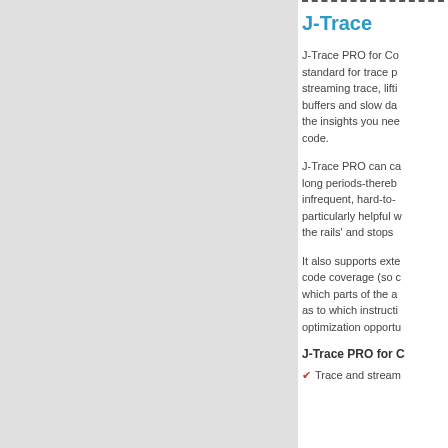[Figure (other): Gray left panel background]
J-Trace
J-Trace PRO for Co standard for trace p streaming trace, lifti buffers and slow da the insights you nee code.
J-Trace PRO can ca long periods-thereb infrequent, hard-to- particularly helpful w the rails' and stops
It also supports exte code coverage (so c which parts of the a as to which instructi optimization opportu
J-Trace PRO for C
Trace and stream